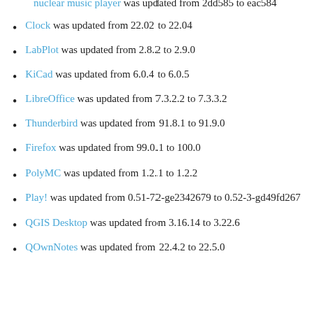nuclear music player was updated from 2dd585 to eac584
Clock was updated from 22.02 to 22.04
LabPlot was updated from 2.8.2 to 2.9.0
KiCad was updated from 6.0.4 to 6.0.5
LibreOffice was updated from 7.3.2.2 to 7.3.3.2
Thunderbird was updated from 91.8.1 to 91.9.0
Firefox was updated from 99.0.1 to 100.0
PolyMC was updated from 1.2.1 to 1.2.2
Play! was updated from 0.51-72-ge2342679 to 0.52-3-gd49fd267
QGIS Desktop was updated from 3.16.14 to 3.22.6
QOwnNotes was updated from 22.4.2 to 22.5.0